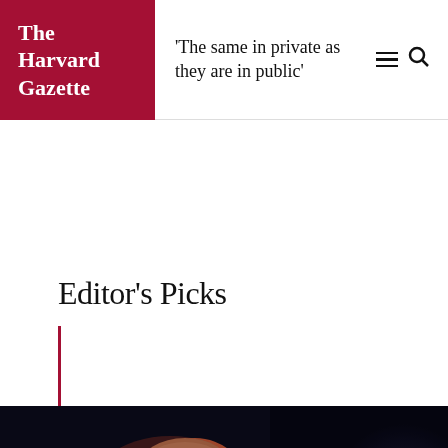The Harvard Gazette
'The same in private as they are in public'
Editor's Picks
[Figure (photo): An elderly man seen from above and to the side, illuminated by reddish-warm light against a dark background, appearing to be in a dimly lit indoor setting.]